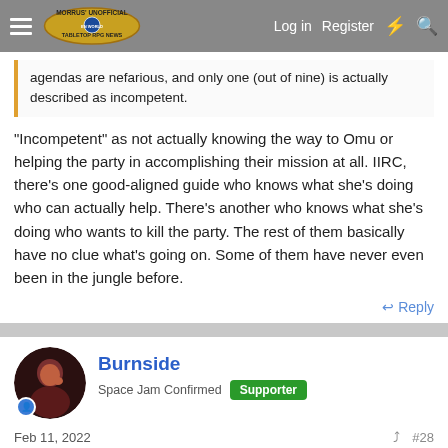Morrus' Unofficial Tabletop RPG News | Log in | Register
agendas are nefarious, and only one (out of nine) is actually described as incompetent.
"Incompetent" as not actually knowing the way to Omu or helping the party in accomplishing their mission at all. IIRC, there's one good-aligned guide who knows what she's doing who can actually help. There's another who knows what she's doing who wants to kill the party. The rest of them basically have no clue what's going on. Some of them have never even been in the jungle before.
↩ Reply
Burnside
Space Jam Confirmed  Supporter
Feb 11, 2022
#28